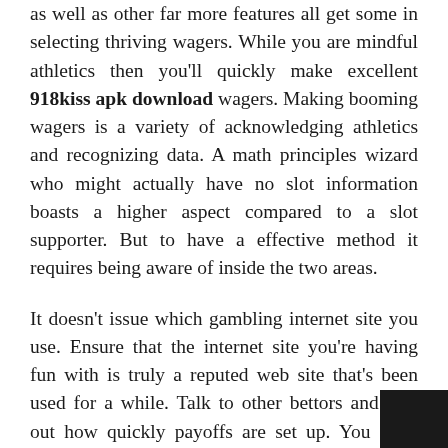as well as other far more features all get some in selecting thriving wagers. While you are mindful athletics then you'll quickly make excellent 918kiss apk download wagers. Making booming wagers is a variety of acknowledging athletics and recognizing data. A math principles wizard who might actually have no slot information boasts a higher aspect compared to a slot supporter. But to have a effective method it requires being aware of inside the two areas.
It doesn't issue which gambling internet site you use. Ensure that the internet site you're having fun with is truly a reputed web site that's been used for a while. Talk to other bettors and find out how quickly payoffs are set up. You don't desire to gain lots of cash and then not receive your pay out rapidly. Some internet sites belie that once they keep your cash for too mu